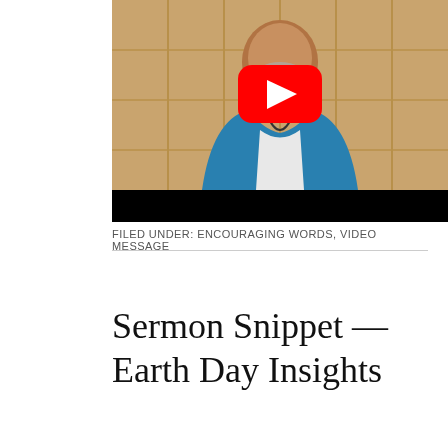[Figure (screenshot): YouTube video thumbnail showing a bearded man in a teal/blue jacket over a white shirt, with a YouTube play button overlay in the center. The bottom of the video has a black bar.]
FILED UNDER: ENCOURAGING WORDS, VIDEO MESSAGE
Sermon Snippet — Earth Day Insights